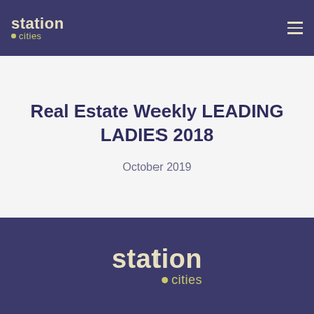[Figure (logo): Station Cities logo in header — white text 'station' with yellow dot and 'cities' text]
Real Estate Weekly LEADING LADIES 2018
October 2019
[Figure (logo): Station Cities logo in footer — large cream/tan text 'station' with yellow dot and 'cities' text on dark navy background]